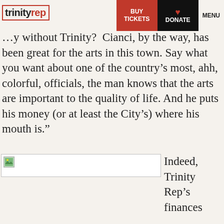trinity rep | BUY TICKETS | DONATE | MENU
...y without Trinity? Cianci, by the way, has been great for the arts in this town. Say what you want about one of the country’s most, ahh, colorful, officials, the man knows that the arts are important to the quality of life. And he puts his money (or at least the City’s) where his mouth is.”
[Figure (photo): Broken image placeholder thumbnail]
Indeed, Trinity Rep’s finances